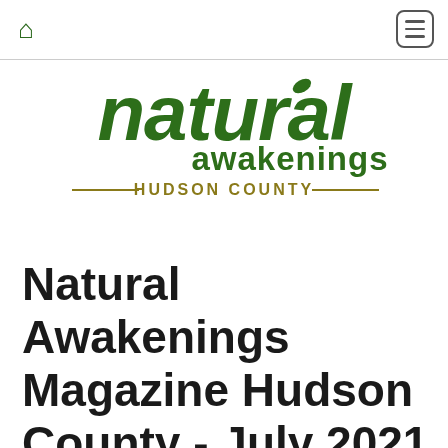Natural Awakenings Hudson County — navigation header with home icon and menu icon
[Figure (logo): Natural Awakenings logo with 'natural' in large dark green bold italic text, 'awakenings' in smaller dark green text below, and 'HUDSON COUNTY' in olive/gold spaced caps with decorative lines on either side]
Natural Awakenings Magazine Hudson County - July 2021